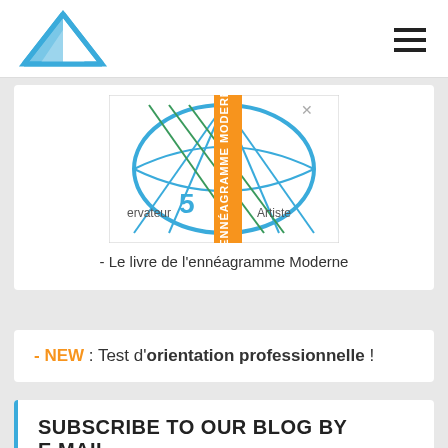Logo and navigation hamburger menu
[Figure (illustration): Book cover of 'L'Ennéagramme Moderne' showing a blue geometric diagram with number 5, Observateur/Artiste labels and an orange vertical band]
- Le livre de l'ennéagramme Moderne
- NEW : Test d'orientation professionnelle !
SUBSCRIBE TO OUR BLOG BY E.MAIL